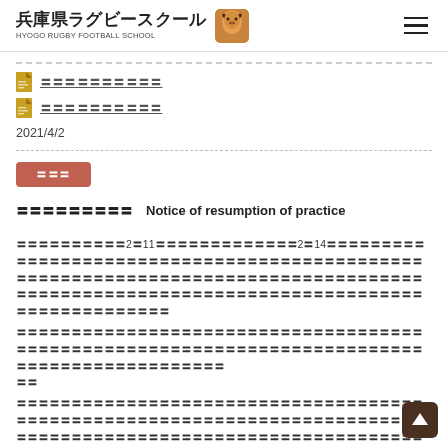兵庫県ラグビースクール HYOGO RUGBY FOOTBALL SCHOOL
〓〓〓〓〓〓〓〓〓〓
〓〓〓〓〓〓〓〓〓〓
2021/4/2
〓〓〓
〓〓〓〓〓〓〓〓〓　Notice of resumption of practice
〓〓〓〓〓〓〓〓〓〓2〓11〓〓〓〓〓〓〓〓〓〓〓〓〓2〓14〓〓〓〓〓〓〓〓〓〓〓〓〓〓〓〓〓〓〓〓〓〓〓〓〓〓〓〓〓〓〓〓〓〓〓〓〓〓〓〓〓〓〓〓〓〓〓〓〓〓〓〓〓〓〓〓〓〓〓〓〓〓〓〓〓〓〓〓〓〓〓〓〓〓〓〓〓〓〓〓〓〓〓〓〓〓〓〓〓〓〓〓〓〓〓〓〓〓〓〓〓〓〓〓〓〓〓〓〓〓〓〓〓〓〓〓〓〓〓〓〓〓〓〓〓〓〓〓〓〓〓〓〓〓〓〓〓〓〓〓〓〓〓〓〓〓〓〓〓〓〓〓〓〓〓〓〓〓〓〓〓〓〓〓〓〓〓〓〓〓〓〓〓〓〓〓〓〓〓〓〓〓〓〓〓〓〓〓〓〓〓〓〓〓〓〓〓〓〓〓〓〓〓〓〓〓〓〓〓〓〓〓〓〓〓〓〓〓〓〓〓〓〓〓〓〓〓〓〓〓〓〓〓〓〓〓〓〓〓〓〓〓〓〓〓〓〓〓〓〓〓〓〓〓〓〓〓〓〓〓〓〓〓〓〓〓〓〓〓〓〓〓〓〓〓〓〓〓〓〓〓〓〓〓〓〓〓〓〓〓〓〓〓〓〓〓〓〓〓〓〓〓〓〓〓〓〓〓〓〓〓〓〓〓〓〓〓〓〓〓〓〓〓〓〓〓〓〓〓〓〓〓〓〓〓〓〓〓〓〓〓〓〓〓〓〓〓〓〓〓〓〓〓〓〓〓〓〓〓〓〓〓〓〓〓〓〓〓〓〓〓〓〓〓〓〓〓〓〓〓〓〓〓〓〓〓〓〓〓〓〓〓〓〓〓〓〓〓〓〓〓〓〓〓〓〓〓〓〓〓〓〓〓〓〓〓〓〓〓〓〓〓〓〓〓〓〓〓〓〓〓〓〓〓〓〓〓〓〓〓〓〓〓〓〓〓〓〓〓〓〓〓〓〓〓〓〓〓〓〓〓〓〓〓〓〓〓〓〓〓〓〓〓〓〓〓〓〓〓〓〓〓〓〓〓〓〓〓〓〓〓〓〓〓〓〓〓〓〓〓〓〓〓〓〓〓〓〓〓〓〓〓〓〓〓〓〓〓〓〓〓〓〓〓〓〓〓〓〓〓〓〓〓〓〓〓〓〓〓〓〓〓〓〓〓〓〓〓〓〓〓〓〓〓〓〓〓〓〓〓〓〓〓〓〓〓〓〓〓〓〓〓〓〓〓〓〓〓〓〓〓〓〓〓〓〓〓〓〓〓〓〓〓〓〓〓〓〓〓〓〓〓〓〓〓〓〓〓〓〓〓〓〓〓〓〓〓〓〓〓〓〓〓〓〓〓〓〓〓〓〓〓〓〓〓〓〓〓〓〓〓〓〓〓〓〓〓〓〓〓〓〓〓〓〓〓〓〓〓〓〓〓〓〓〓〓〓〓〓〓〓〓〓〓〓〓〓〓〓〓〓〓〓〓〓〓〓〓〓〓〓〓〓〓〓〓〓〓〓〓〓〓〓〓〓〓〓〓〓〓〓〓〓〓〓〓〓〓〓〓〓〓〓〓〓〓〓〓〓〓〓〓〓〓〓〓〓〓〓〓〓〓〓〓〓〓〓〓〓〓〓〓〓〓〓〓〓〓〓〓〓〓〓〓〓〓〓〓〓〓〓〓〓〓〓〓〓〓〓〓〓〓〓〓〓〓〓〓〓〓〓〓〓〓〓〓〓〓〓〓〓〓〓〓〓〓〓〓〓〓〓〓〓〓〓〓〓〓〓〓〓〓〓〓〓〓〓〓〓〓〓〓〓〓〓〓〓〓〓〓〓〓〓〓〓